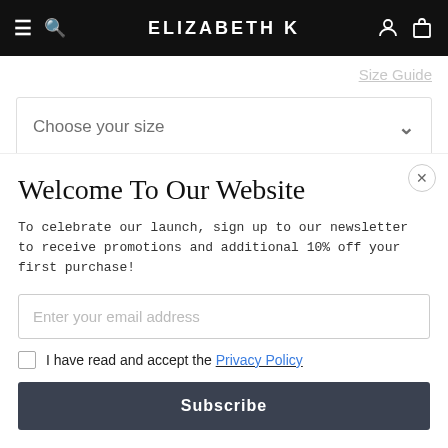ELIZABETH K
Size Guide
Choose your size
PRODUCT DETAILS   CARE & COMPOSITION   SHIPPING >
Welcome To Our Website
To celebrate our launch, sign up to our newsletter to receive promotions and additional 10% off your first purchase!
Enter your email address
I have read and accept the Privacy Policy
Subscribe